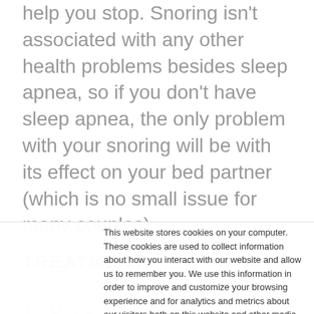help you stop. Snoring isn't associated with any other health problems besides sleep apnea, so if you don't have sleep apnea, the only problem with your snoring will be with its effect on your bed partner (which is no small issue for many couples).
TREATMENT
This website stores cookies on your computer. These cookies are used to collect information about how you interact with our website and allow us to remember you. We use this information in order to improve and customize your browsing experience and for analytics and metrics about our visitors both on this website and other media. To find out more about the cookies we use, see our Privacy Policy